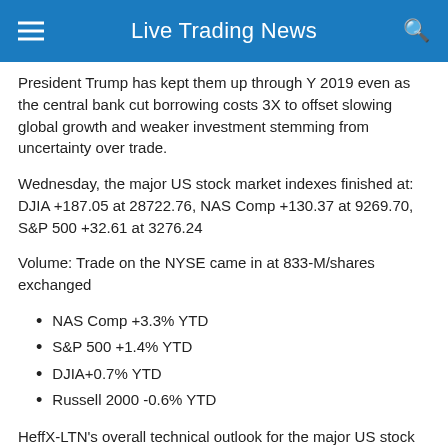Live Trading News
President Trump has kept them up through Y 2019 even as the central bank cut borrowing costs 3X to offset slowing global growth and weaker investment stemming from uncertainty over trade.
Wednesday, the major US stock market indexes finished at: DJIA +187.05 at 28722.76, NAS Comp +130.37 at 9269.70, S&P 500 +32.61 at 3276.24
Volume: Trade on the NYSE came in at 833-M/shares exchanged
NAS Comp +3.3% YTD
S&P 500 +1.4% YTD
DJIA+0.7% YTD
Russell 2000 -0.6% YTD
HeffX-LTN's overall technical outlook for the major US stock market indexes is Bullish in here.